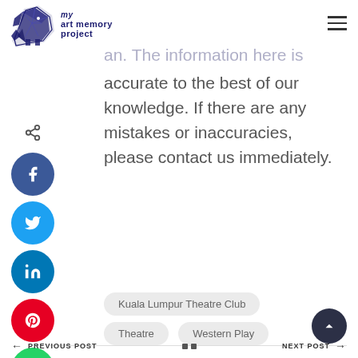my art memory project
an. The information here is accurate to the best of our knowledge. If there are any mistakes or inaccuracies, please contact us immediately.
[Figure (other): Social sharing icons column: share icon, Facebook, Twitter, LinkedIn, Pinterest, WhatsApp]
Kuala Lumpur Theatre Club
Theatre   Western Play
PREVIOUS POST   NEXT POST